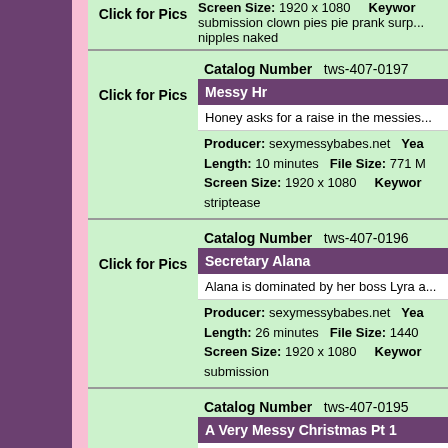Click for Pics — Screen Size: 1920 x 1080   Keywords: submission clown pies pie prank surp... nipples naked
Catalog Number   tws-407-0197
Messy Hr
Honey asks for a raise in the messies...
Producer: sexymessybabes.net   Year: ...   Length: 10 minutes   File Size: 771 M...   Screen Size: 1920 x 1080   Keywords: ... striptease
Catalog Number   tws-407-0196
Secretary Alana
Alana is dominated by her boss Lyra a...
Producer: sexymessybabes.net   Year: ...   Length: 26 minutes   File Size: 1440...   Screen Size: 1920 x 1080   Keywords: ... submission
Catalog Number   tws-407-0195
A Very Messy Christmas Pt 1
All I want for Christmas is a pie in the...